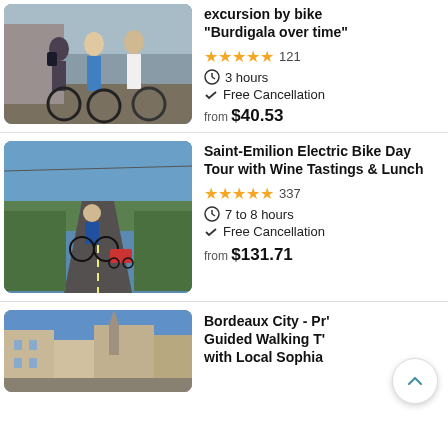[Figure (photo): Group of people with bicycles on a cobblestone street, sunny day]
excursion by bike "Burdigala over time"
★★★★★ 121
⏱ 3 hours
✓ Free Cancellation
from $40.53
[Figure (photo): Man riding an electric bike on a road through vineyards on a sunny day]
Saint-Emilion Electric Bike Day Tour with Wine Tastings & Lunch
★★★★★ 337
⏱ 7 to 8 hours
✓ Free Cancellation
from $131.71
[Figure (photo): Bordeaux city street with historic buildings and a cathedral]
Bordeaux City - Pr' Guided Walking T' with Local Sophia